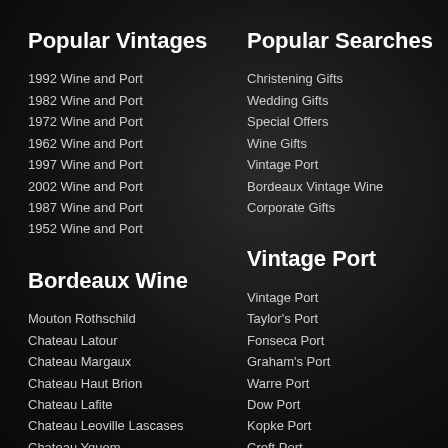Popular Vintages
1992 Wine and Port
1982 Wine and Port
1972 Wine and Port
1962 Wine and Port
1997 Wine and Port
2002 Wine and Port
1987 Wine and Port
1952 Wine and Port
Popular Searches
Christening Gifts
Wedding Gifts
Special Offers
Wine Gifts
Vintage Port
Bordeaux Vintage Wine
Corporate Gifts
Bordeaux Wine
Mouton Rothschild
Chateau Latour
Chateau Margaux
Chateau Haut Brion
Chateau Lafite
Chateau Leoville Lascases
Chateau Yquem
Vintage Port
Vintage Port
Taylor's Port
Fonseca Port
Graham's Port
Warre Port
Dow Port
Kopke Port
Croft Port